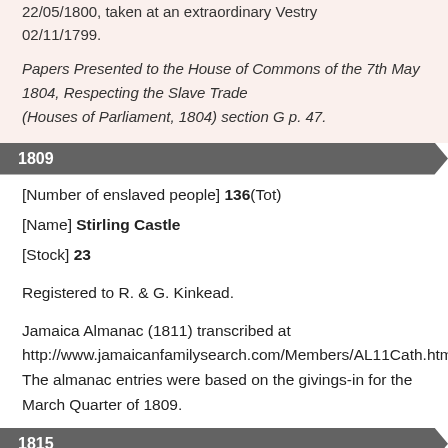22/05/1800, taken at an extraordinary Vestry 02/11/1799.
Papers Presented to the House of Commons of the 7th May 1804, Respecting the Slave Trade (Houses of Parliament, 1804) section G p. 47.
1809
[Number of enslaved people] 136(Tot)
[Name] Stirling Castle
[Stock] 23
Registered to R. & G. Kinkead.
Jamaica Almanac (1811) transcribed at http://www.jamaicanfamilysearch.com/Members/AL11Cath.htm. The almanac entries were based on the givings-in for the March Quarter of 1809.
1815